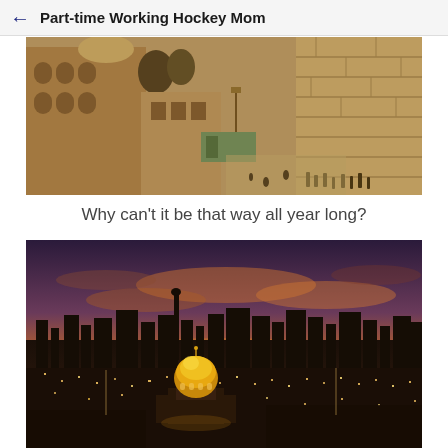Part-time Working Hockey Mom
[Figure (photo): Sepia-toned photograph of the Western Wall (Kotel) plaza in Jerusalem, showing ancient stone buildings, the Wailing Wall with worshippers, and the plaza area with street lamps]
Why can't it be that way all year long?
[Figure (photo): Twilight/sunset panoramic photograph of Jerusalem skyline featuring the Dome of the Rock with its golden dome illuminated, city buildings, and a dramatic orange and purple sky]